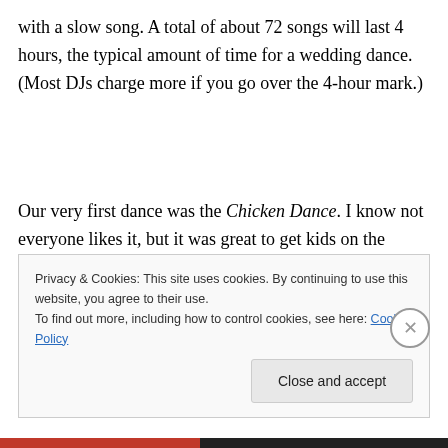with a slow song. A total of about 72 songs will last 4 hours, the typical amount of time for a wedding dance. (Most DJs charge more if you go over the 4-hour mark.)
Our very first dance was the Chicken Dance. I know not everyone likes it, but it was great to get kids on the dance floor right away. It also made it easier to get other people on the floor throughout the night because we'd already set
Privacy & Cookies: This site uses cookies. By continuing to use this website, you agree to their use.
To find out more, including how to control cookies, see here: Cookie Policy
[Close and accept]